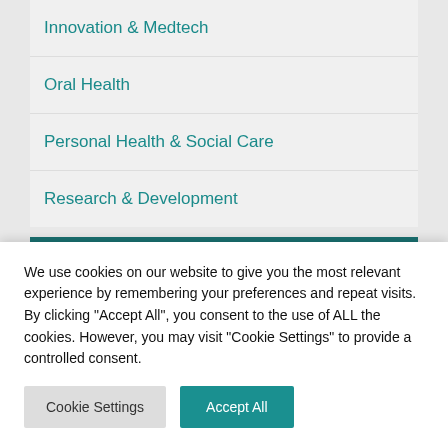Innovation & Medtech
Oral Health
Personal Health & Social Care
Research & Development
Share this?
We use cookies on our website to give you the most relevant experience by remembering your preferences and repeat visits. By clicking "Accept All", you consent to the use of ALL the cookies. However, you may visit "Cookie Settings" to provide a controlled consent.